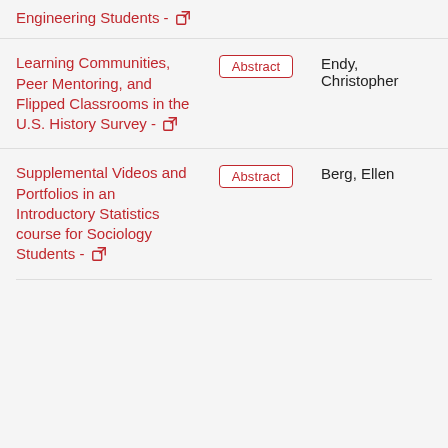Engineering Students - [external link]
Learning Communities, Peer Mentoring, and Flipped Classrooms in the U.S. History Survey - [external link]
Abstract
Endy, Christopher
Supplemental Videos and Portfolios in an Introductory Statistics course for Sociology Students - [external link]
Abstract
Berg, Ellen